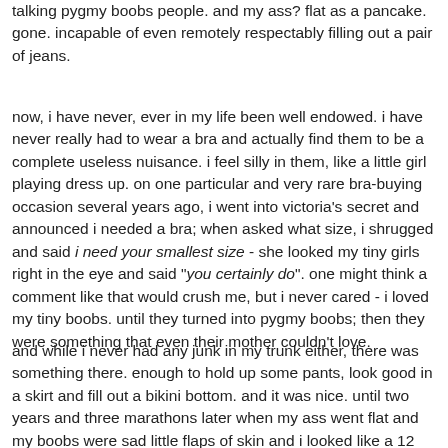talking pygmy boobs people. and my ass? flat as a pancake. gone. incapable of even remotely respectably filling out a pair of jeans.
now, i have never, ever in my life been well endowed. i have never really had to wear a bra and actually find them to be a complete useless nuisance. i feel silly in them, like a little girl playing dress up. on one particular and very rare bra-buying occasion several years ago, i went into victoria's secret and announced i needed a bra; when asked what size, i shrugged and said i need your smallest size - she looked my tiny girls right in the eye and said "you certainly do". one might think a comment like that would crush me, but i never cared - i loved my tiny boobs. until they turned into pygmy boobs; then they were something that even their mother couldn't love.
and while i never had any junk in my trunk either, there was something there. enough to hold up some pants, look good in a skirt and fill out a bikini bottom. and it was nice. until two years and three marathons later when my ass went flat and my boobs were sad little flaps of skin and i looked like a 12